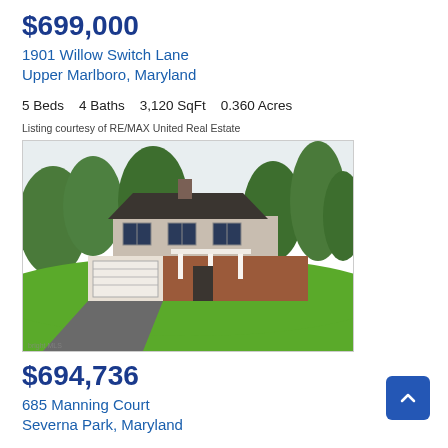$699,000
1901 Willow Switch Lane
Upper Marlboro, Maryland
5 Beds    4 Baths    3,120 SqFt    0.360 Acres
Listing courtesy of RE/MAX United Real Estate
[Figure (photo): Exterior photo of a two-story brick and siding colonial home with attached garage, white columns on front porch, and large green lawn surrounded by trees.]
$694,736
685 Manning Court
Severna Park, Maryland
4 Beds    4 Baths    2,992 SqFt    0.410 Acres